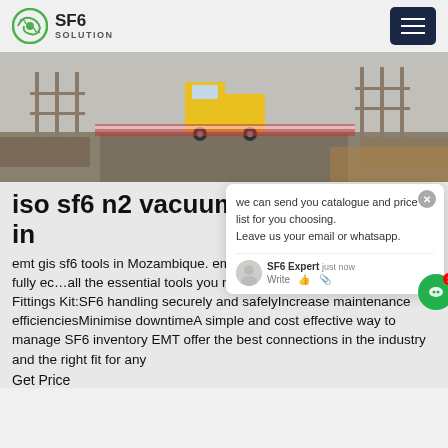SF6 SOLUTION
[Figure (photo): Construction site with scaffolding, fencing, and yellow truck in background]
iso sf6 n2 vacuum in
emt gis sf6 tools in Mozambique. em...s in MozambiqueArrive on site fully...all the essential tools you need for the...EMT SF6 Universal Fittings Kit:SF6 handling securely and safelyIncrease maintenance efficienciesMinimise downtimeA simple and cost effective way to manage SF6 inventory EMT offer the best connections in the industry and the right fit for any
Get Price